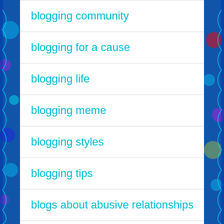blogging community
blogging for a cause
blogging life
blogging meme
blogging styles
blogging tips
blogs about abusive relationships
body image